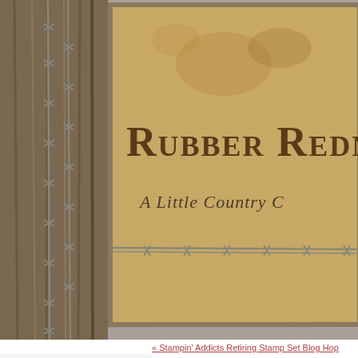[Figure (screenshot): Website header banner for 'Rubber Redne...' blog with rustic wood frame, barbed wire, and aged parchment background. Shows partial title 'Rubber Redn...' in western slab-serif font and subtitle 'A Little Country C...' below it, with barbed wire decorative element.]
« Stampin' Addicts Retiring Stamp Set Blog Hop
04/26/2014
Early Registration OPEN!!! Summer F... Watercolor Card
[Figure (photo): Partial view of a handmade stamping card preview with teal/aqua border, red inner border, showing 'The Rubber Redn... Summe... Edition...' text and a red flower/sunflower stamp image with a button center.]